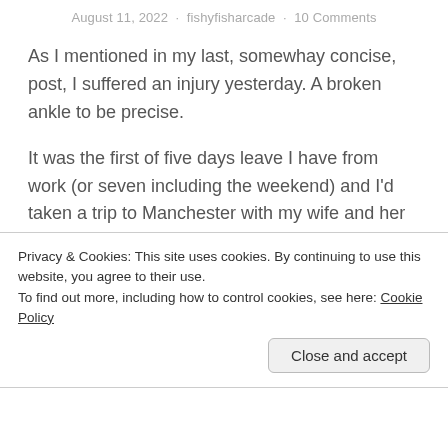August 11, 2022 · fishyfisharcade · 10 Comments
As I mentioned in my last, somewhay concise, post, I suffered an injury yesterday. A broken ankle to be precise.
It was the first of five days leave I have from work (or seven including the weekend) and I'd taken a trip to Manchester with my wife and her sister. They were off to see a show while I planned to just wander around the city taking pictures. And all was going to plan for several hours. I visited Real
Privacy & Cookies: This site uses cookies. By continuing to use this website, you agree to their use.
To find out more, including how to control cookies, see here: Cookie Policy
Close and accept